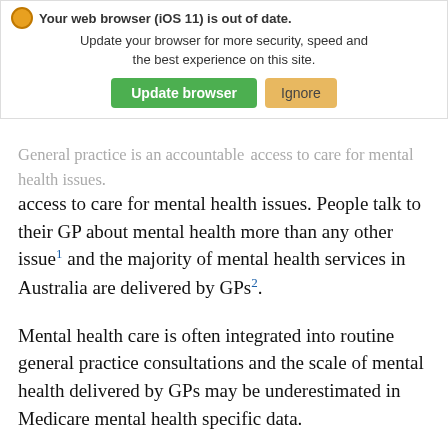[Figure (screenshot): Browser update notification banner with orange warning icon, message 'Your web browser (iOS 11) is out of date. Update your browser for more security, speed and the best experience on this site.' with green 'Update browser' button and orange 'Ignore' button.]
General practice is an accountable access to care for mental health issues. People talk to their GP about mental health more than any other issue¹ and the majority of mental health services in Australia are delivered by GPs².
Mental health care is often integrated into routine general practice consultations and the scale of mental health delivered by GPs may be underestimated in Medicare mental health specific data.
In certain circumstances, a general practice may be the only point of care for people who require mental health services. In rural and remote areas, GPs and their practice teams may manage a high